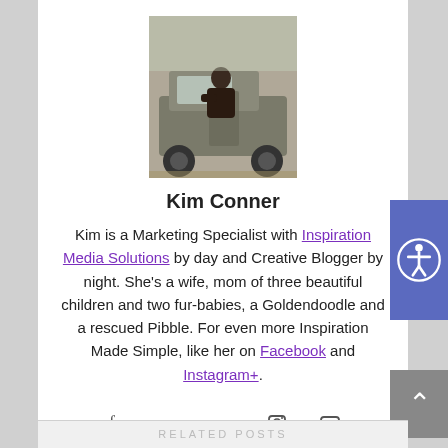[Figure (photo): Profile photo of Kim Conner, a person leaning out of a vehicle door outdoors]
Kim Conner
Kim is a Marketing Specialist with Inspiration Media Solutions by day and Creative Blogger by night. She's a wife, mom of three beautiful children and two fur-babies, a Goldendoodle and a rescued Pibble. For even more Inspiration Made Simple, like her on Facebook and Instagram+.
[Figure (other): Social media icons: Facebook, Twitter, Pinterest, Instagram, YouTube]
RELATED POSTS